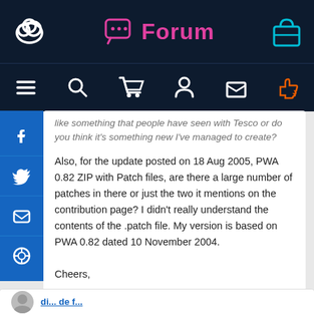Forum
like something that people have seen with Tesco or do you think it's something new I've managed to create?
Also, for the update posted on 18 Aug 2005, PWA 0.82 ZIP with Patch files, are there a large number of patches in there or just the two it mentions on the contribution page? I didn't really understand the contents of the .patch file. My version is based on PWA 0.82 dated 10 November 2004.
Cheers,

Stew